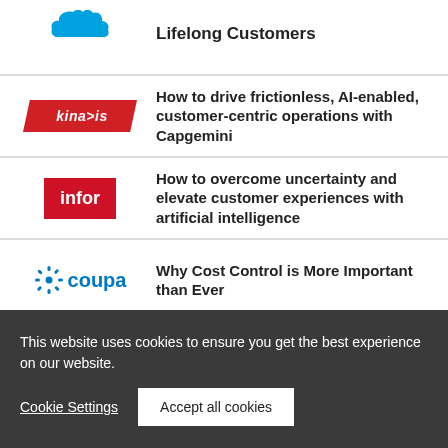[Figure (logo): Salesforce cloud logo (blue), partially visible at top]
Lifelong Customers
[Figure (logo): Kinaxis logo — red parallelogram background with white italic text 'kinaXis']
How to drive frictionless, AI-enabled, customer-centric operations with Capgemini
[Figure (logo): Infor logo — red square with white lowercase text 'infor']
How to overcome uncertainty and elevate customer experiences with artificial intelligence
[Figure (logo): Coupa logo — blue sunburst icon and blue bold text 'coupa']
Why Cost Control is More Important than Ever
This website uses cookies to ensure you get the best experience on our website.
Cookie Settings
Accept all cookies